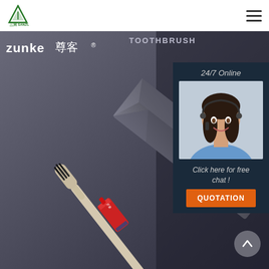[Figure (logo): Sanzun/三润 logo — green triangle/mountain symbol above text]
三润 SANZUN (logo) | hamburger menu icon
[Figure (photo): Product photo showing a Zunke branded toothbrush with black bristles, a small red toothpaste tube, and a dark geometric-patterned box, all on a dark grey background]
Zunko尊客® TOOTHBRUSH
24/7 Online
[Figure (photo): Customer service agent — woman with headset, smiling, blue shirt, dark hair]
Click here for free chat !
QUOTATION